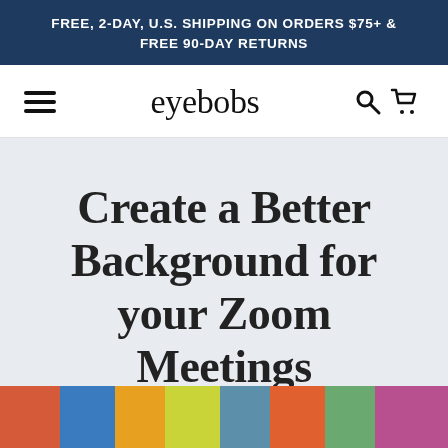FREE, 2-DAY, U.S. SHIPPING ON ORDERS $75+ & FREE 90-DAY RETURNS
[Figure (logo): eyebobs logo with hamburger menu, search and cart icons in navigation bar]
Create a Better Background for your Zoom Meetings
February 01, 2021
[Figure (photo): Colorful image strip at the bottom of the page]